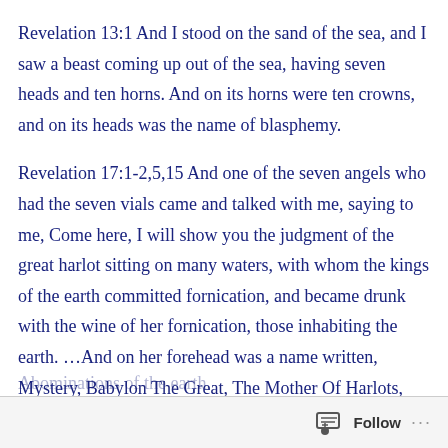Revelation 13:1 And I stood on the sand of the sea, and I saw a beast coming up out of the sea, having seven heads and ten horns. And on its horns were ten crowns, and on its heads was the name of blasphemy.
Revelation 17:1-2,5,15 And one of the seven angels who had the seven vials came and talked with me, saying to me, Come here, I will show you the judgment of the great harlot sitting on many waters, with whom the kings of the earth committed fornication, and became drunk with the wine of her fornication, those inhabiting the earth. …And on her forehead was a name written, Mystery, Babylon The Great, The Mother Of Harlots, and of The
Follow